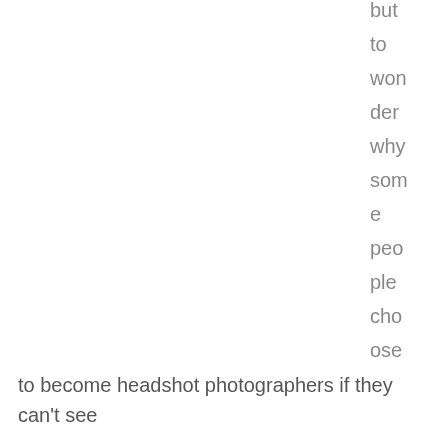but to won der why som e peo ple cho ose to become headshot photographers if they can't see